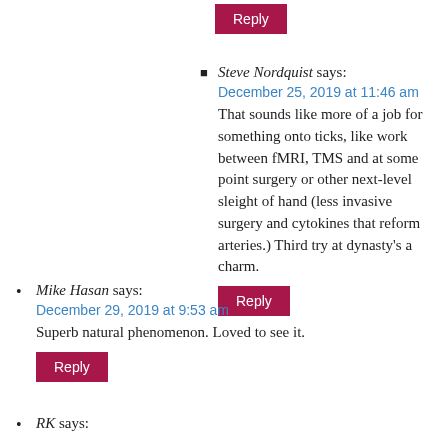Reply (button at top)
Steve Nordquist says:
December 25, 2019 at 11:46 am
That sounds like more of a job for something onto ticks, like work between fMRI, TMS and at some point surgery or other next-level sleight of hand (less invasive surgery and cytokines that reform arteries.) Third try at dynasty's a charm.
Reply
Mike Hasan says:
December 29, 2019 at 9:53 am
Superb natural phenomenon. Loved to see it.
Reply
RK says: